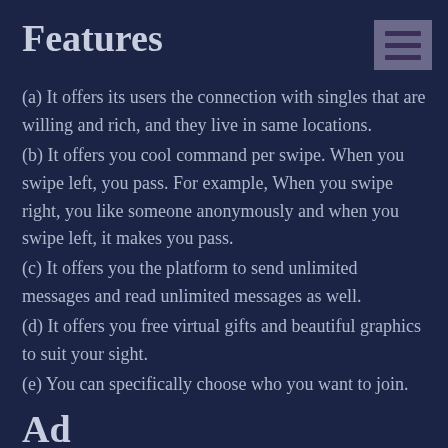Features
(a) It offers its users the connection with singles that are willing and rich, and they live in same locations.
(b) It offers you cool command per swipe. When you swipe left, you pass. For example, When you swipe right, you like someone anonymously and when you swipe left, it makes you pass.
(c) It offers you the platform to send unlimited messages and read unlimited messages as well.
(d) It offers you free virtual gifts and beautiful graphics to suit your sight.
(e) You can specifically choose who you want to join.